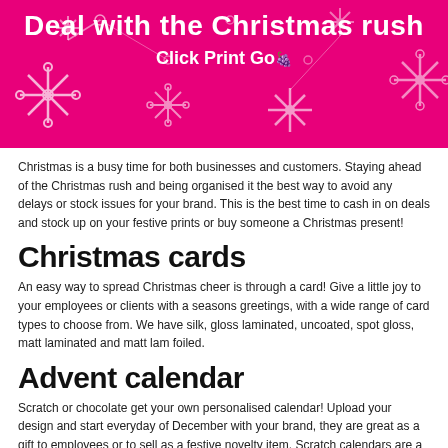[Figure (illustration): Pink/magenta banner with white snowflakes, title 'Deal with the Christmas rush' in bold white text, and 'Click Print Go' subtitle with a small berry/grape icon.]
Christmas is a busy time for both businesses and customers. Staying ahead of the Christmas rush and being organised it the best way to avoid any delays or stock issues for your brand. This is the best time to cash in on deals and stock up on your festive prints or buy someone a Christmas present!
Christmas cards
An easy way to spread Christmas cheer is through a card! Give a little joy to your employees or clients with a seasons greetings, with a wide range of card types to choose from. We have silk, gloss laminated, uncoated, spot gloss, matt laminated and matt lam foiled.
Advent calendar
Scratch or chocolate get your own personalised calendar! Upload your design and start everyday of December with your brand, they are great as a gift to employees or to sell as a festive novelty item.  Scratch calendars are a great way for promotional